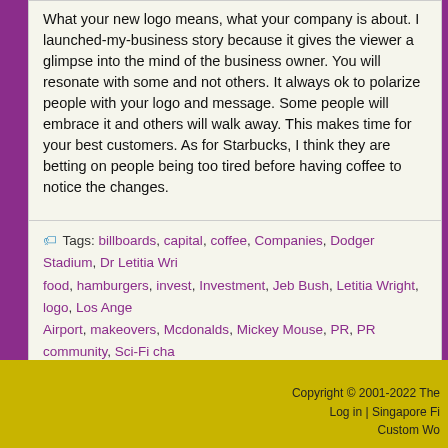What your new logo means, what your company is about. I launched-my-business story because it gives the viewer a glimpse into the mind of the business owner. You will resonate with some and not others. It always ok to polarize people with your logo and message. Some people will embrace it and others will walk away. This makes time for your best customers. As for Starbucks, I think they are betting on people being too tired before having coffee to notice the changes.
Tags: billboards, capital, coffee, Companies, Dodger Stadium, Dr Letitia Wright, food, hamburgers, invest, Investment, Jeb Bush, Letitia Wright, logo, Los Angeles Airport, makeovers, Mcdonalds, Mickey Mouse, PR, PR community, Sci-Fi channel, Starbucks coffee, Starbucks Make-Over, The Starbucks Make-Over is Great for PR, WPTV, wright place TV
Next Page »
Copyright © 2001-2022 The
Log in | Singapore Fi
Custom Wo